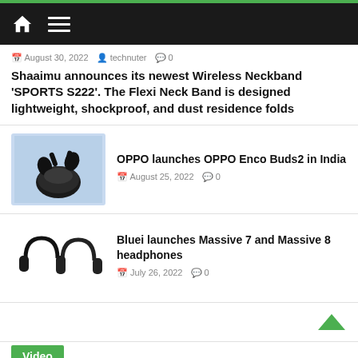Navigation bar with home and menu icons
August 30, 2022  technuter  0
Shaaimu announces its newest Wireless Neckband ‘SPORTS S222’. The Flexi Neck Band is designed lightweight, shockproof, and dust residence folds
[Figure (photo): OPPO Enco Buds2 earbuds with charging case on blue background]
OPPO launches OPPO Enco Buds2 in India
August 25, 2022  0
[Figure (photo): Two black over-ear headphones - Bluei Massive 7 and Massive 8]
Bluei launches Massive 7 and Massive 8 headphones
July 26, 2022  0
Video